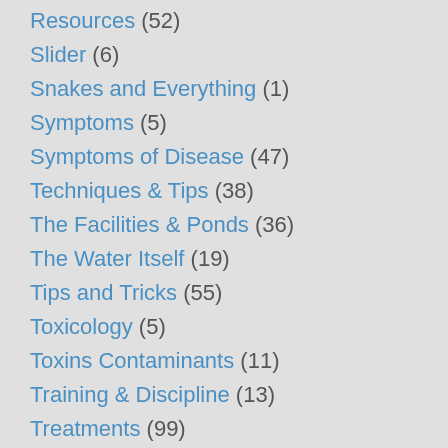Resources (52)
Slider (6)
Snakes and Everything (1)
Symptoms (5)
Symptoms of Disease (47)
Techniques & Tips (38)
The Facilities & Ponds (36)
The Water Itself (19)
Tips and Tricks (55)
Toxicology (5)
Toxins Contaminants (11)
Training & Discipline (13)
Treatments (99)
Treatments (61)